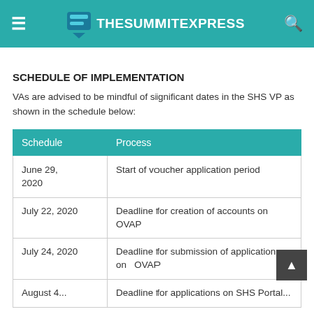TheSummitExpress
SCHEDULE OF IMPLEMENTATION
VAs are advised to be mindful of significant dates in the SHS VP as shown in the schedule below:
| Schedule | Process |
| --- | --- |
| June 29, 2020 | Start of voucher application period |
| July 22, 2020 | Deadline for creation of accounts on OVAP |
| July 24, 2020 | Deadline for submission of applications on OVAP |
| August 4 ... | Deadline for applications on SHS Portal ... |